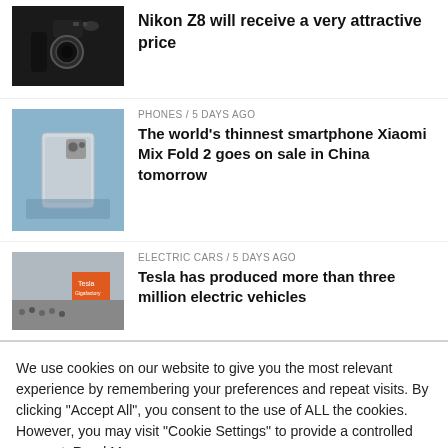[Figure (photo): Black Nikon Z8 camera on white background]
Nikon Z8 will receive a very attractive price
PHONES / 5 days ago
[Figure (photo): Xiaomi Mix Fold 2 smartphone on blue background]
The world's thinnest smartphone Xiaomi Mix Fold 2 goes on sale in China tomorrow
ELECTRIC CARS / 5 days ago
[Figure (photo): Tesla factory with crowd and orange sign]
Tesla has produced more than three million electric vehicles
We use cookies on our website to give you the most relevant experience by remembering your preferences and repeat visits. By clicking "Accept All", you consent to the use of ALL the cookies. However, you may visit "Cookie Settings" to provide a controlled consent. Read More